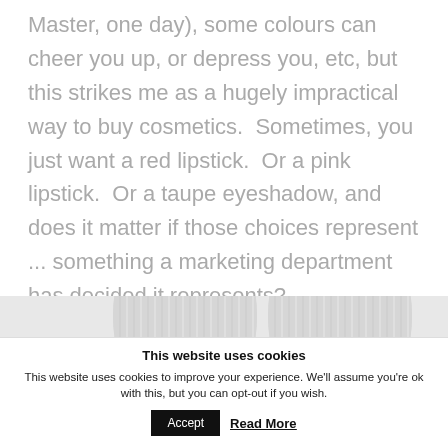Master, one day), some colours can cheer you up, or depress you, etc, but this strikes me as a hugely impractical way to buy cosmetics.  Sometimes, you just want a red lipstick.  Or a pink lipstick.  Or a taupe eyeshadow, and does it matter if those choices represent ... something a marketing department has decided it represents?
[Figure (photo): Partial view of two cosmetic compacts, blurred/cropped, showing ridged metallic lids on a light background]
This website uses cookies
This website uses cookies to improve your experience. We'll assume you're ok with this, but you can opt-out if you wish.